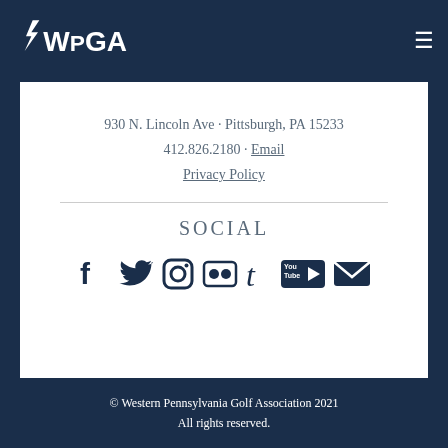WPGA
930 N. Lincoln Ave · Pittsburgh, PA 15233
412.826.2180 · Email
Privacy Policy
SOCIAL
[Figure (infographic): Social media icons: Facebook, Twitter, Instagram, Flickr, Tumblr, YouTube, Email]
© Western Pennsylvania Golf Association 2021
All rights reserved.